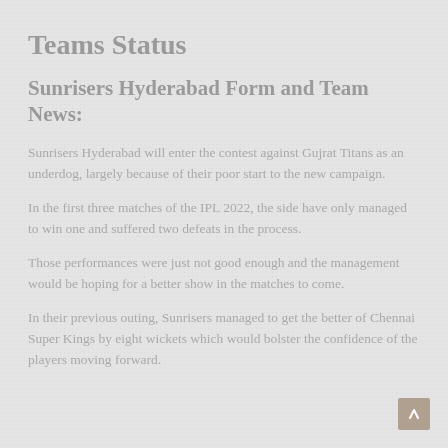Teams Status
Sunrisers Hyderabad Form and Team News:
Sunrisers Hyderabad will enter the contest against Gujrat Titans as an underdog, largely because of their poor start to the new campaign.
In the first three matches of the IPL 2022, the side have only managed to win one and suffered two defeats in the process.
Those performances were just not good enough and the management would be hoping for a better show in the matches to come.
In their previous outing, Sunrisers managed to get the better of Chennai Super Kings by eight wickets which would bolster the confidence of the players moving forward.